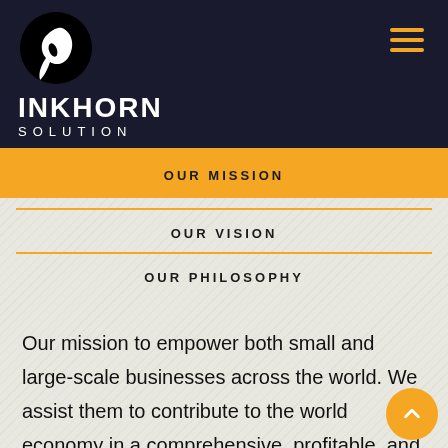[Figure (logo): Inkhorn Solution logo: black circle with white feather/horn icon, INKHORN in bold white text, SOLUTION in spaced white text below, on dark navy background. Hamburger menu icon (three gold lines) in top right.]
OUR MISSION
OUR VISION
OUR PHILOSOPHY
Our mission to empower both small and large-scale businesses across the world. We assist them to contribute to the world economy in a comprehensive, profitable, and more competitive way. We deliver highly